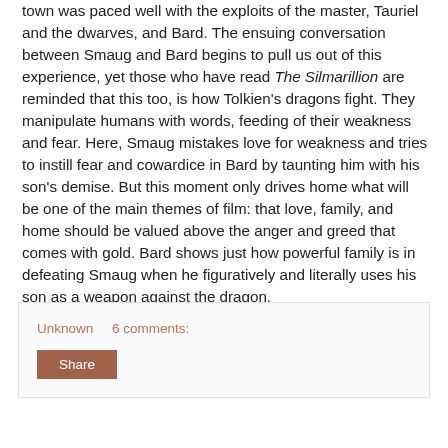town was paced well with the exploits of the master, Tauriel and the dwarves, and Bard. The ensuing conversation between Smaug and Bard begins to pull us out of this experience, yet those who have read The Silmarillion are reminded that this too, is how Tolkien's dragons fight. They manipulate humans with words, feeding of their weakness and fear. Here, Smaug mistakes love for weakness and tries to instill fear and cowardice in Bard by taunting him with his son's demise. But this moment only drives home what will be one of the main themes of film: that love, family, and home should be valued above the anger and greed that comes with gold. Bard shows just how powerful family is in defeating Smaug when he figuratively and literally uses his son as a weapon against the dragon.
Unknown   6 comments:
Share